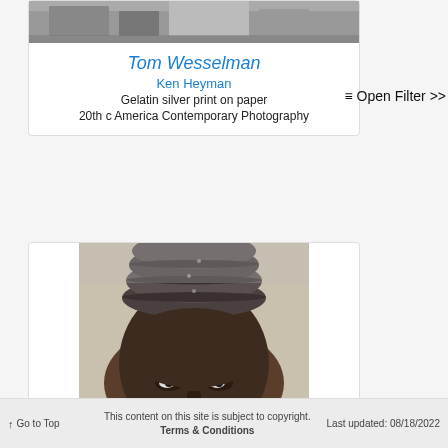[Figure (photo): Black and white photograph showing a scene with objects on a floor, partial view]
Tom Wesselman
Ken Heyman
Gelatin silver print on paper
20th c America Contemporary Photography
≡ Open Filter >>
[Figure (photo): Black and white close-up portrait photograph of a man wearing a knit cap]
↑ Go to Top   This content on this site is subject to copyright. Terms & Conditions   Last updated: 08/18/2022